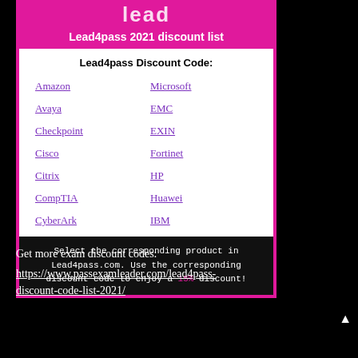[Figure (logo): Partial Lead4pass logo text in white on pink background]
Lead4pass 2021 discount list
Lead4pass Discount Code:
Amazon
Microsoft
Avaya
EMC
Checkpoint
EXIN
Cisco
Fortinet
Citrix
HP
CompTIA
Huawei
CyberArk
IBM
Select the corresponding product in Lead4pass.com. Use the corresponding discount code to enjoy a 15% discount!
Get more exam discount codes:
https://www.passexamleader.com/lead4pass-discount-code-list-2021/